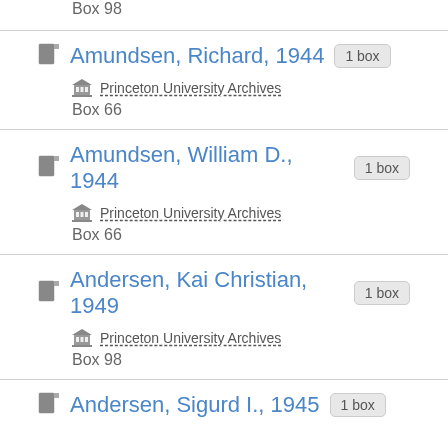Box 98
Amundsen, Richard, 1944 — 1 box — Princeton University Archives — Box 66
Amundsen, William D., 1944 — 1 box — Princeton University Archives — Box 66
Andersen, Kai Christian, 1949 — 1 box — Princeton University Archives — Box 98
Andersen, Sigurd I., 1945 — 1 box